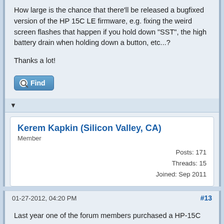How large is the chance that there'll be released a bugfixed version of the HP 15C LE firmware, e.g. fixing the weird screen flashes that happen if you hold down "SST", the high battery drain when holding down a button, etc...?
Thanks a lot!
Find
▼
Kerem Kapkin (Silicon Valley, CA)
Member
Posts: 171
Threads: 15
Joined: Sep 2011
01-27-2012, 04:20 PM
#13
Last year one of the forum members purchased a HP-15C LE which was incorrectly loaded with HP-12C firmware at the factory although working fine (as a HP-12C). The person noticed the problem when he tried to take a square root of a